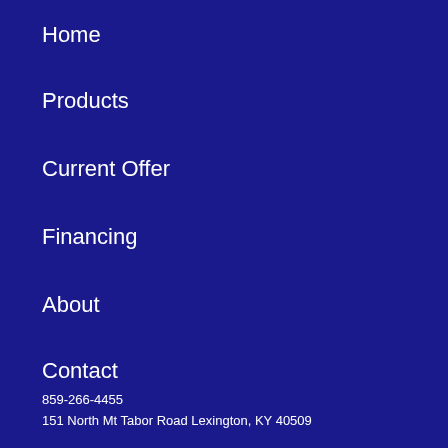Home
Products
Current Offer
Financing
About
Contact
859-266-4455
151 North Mt Tabor Road Lexington, KY 40509